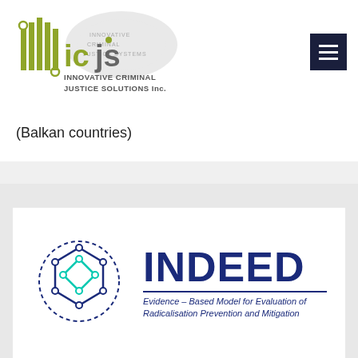[Figure (logo): ICJS - Innovative Criminal Justice Solutions Inc. logo with world map background]
(Balkan countries)
[Figure (logo): INDEED - Evidence-Based Model for Evaluation of Radicalisation Prevention and Mitigation logo with hexagon network icon]